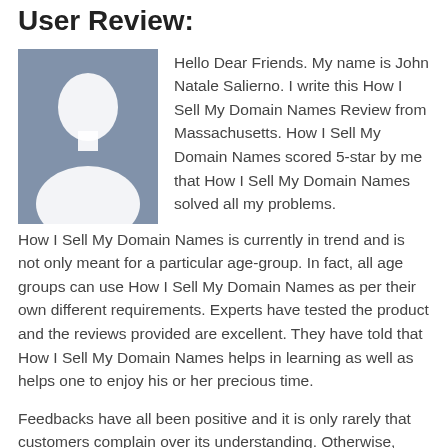User Review:
[Figure (illustration): Generic user avatar silhouette placeholder image with blue-grey background showing a white person outline]
Hello Dear Friends. My name is John Natale Salierno. I write this How I Sell My Domain Names Review from Massachusetts. How I Sell My Domain Names scored 5-star by me that How I Sell My Domain Names solved all my problems. How I Sell My Domain Names is currently in trend and is not only meant for a particular age-group. In fact, all age groups can use How I Sell My Domain Names as per their own different requirements. Experts have tested the product and the reviews provided are excellent. They have told that How I Sell My Domain Names helps in learning as well as helps one to enjoy his or her precious time.
Feedbacks have all been positive and it is only rarely that customers complain over its understanding. Otherwise,